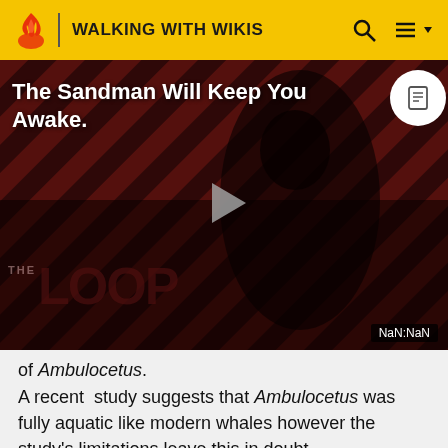WALKING WITH WIKIS
[Figure (screenshot): Video thumbnail with dark diagonal striped background, figure in black, 'The Sandman Will Keep You Awake.' title text, THE LOOP logo, play button, and NaN:NaN time display]
of Ambulocetus.
A recent study suggests that Ambulocetus was fully aquatic like modern whales however the study's limitations leave this in doubt.